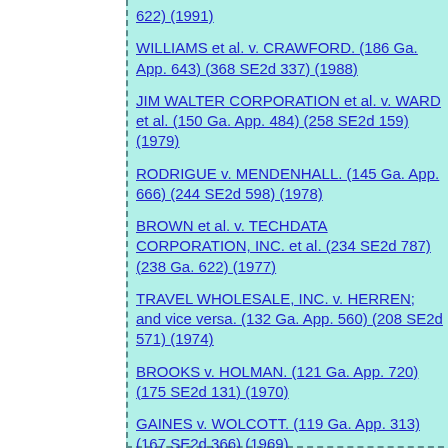622) (1991)
WILLIAMS et al. v. CRAWFORD. (186 Ga. App. 643) (368 SE2d 337) (1988)
JIM WALTER CORPORATION et al. v. WARD et al. (150 Ga. App. 484) (258 SE2d 159) (1979)
RODRIGUE v. MENDENHALL. (145 Ga. App. 666) (244 SE2d 598) (1978)
BROWN et al. v. TECHDATA CORPORATION, INC. et al. (234 SE2d 787) (238 Ga. 622) (1977)
TRAVEL WHOLESALE, INC. v. HERREN; and vice versa. (132 Ga. App. 560) (208 SE2d 571) (1974)
BROOKS v. HOLMAN. (121 Ga. App. 720) (175 SE2d 131) (1970)
GAINES v. WOLCOTT. (119 Ga. App. 313) (167 SE2d 366) (1969)